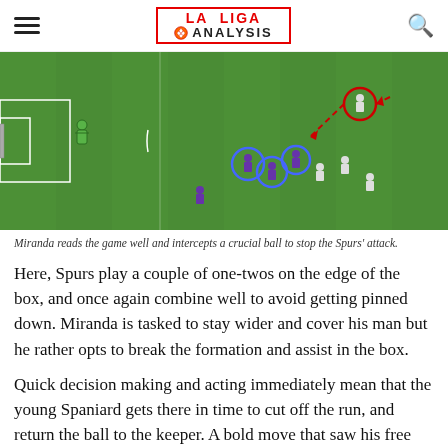LA LIGA ANALYSIS
[Figure (screenshot): Football match screenshot showing players on the pitch with tactical annotations: blue circles around players, a red circle around a player near the top, and a red dashed arrow indicating a pass or run direction toward the goal area.]
Miranda reads the game well and intercepts a crucial ball to stop the Spurs' attack.
Here, Spurs play a couple of one-twos on the edge of the box, and once again combine well to avoid getting pinned down. Miranda is tasked to stay wider and cover his man but he rather opts to break the formation and assist in the box.
Quick decision making and acting immediately mean that the young Spaniard gets there in time to cut off the run, and return the ball to the keeper. A bold move that saw his free the right side for Spurs but it was a calculated risk that paid